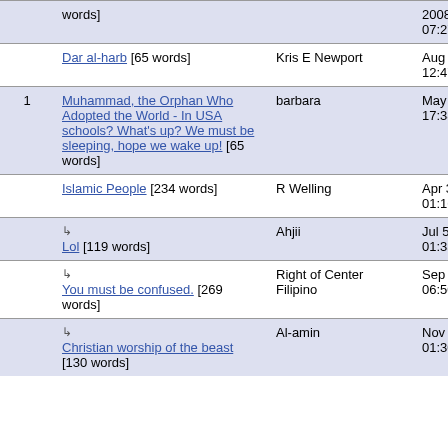|  | Title | Author | Date |
| --- | --- | --- | --- |
|  | words] |  | 2008
07:27 |
|  | Dar al-harb [65 words] | Kris E Newport | Aug 10, 2006 12:47 |
| 1 | Muhammad, the Orphan Who Adopted the World - In USA schools? What's up? We must be sleeping, hope we wake up! [65 words] | barbara | May 9, 2006 17:38 |
|  | Islamic People [234 words] | R Welling | Apr 3, 2006 01:16 |
|  | ↳ Lol [119 words] | Ahjii | Jul 5, 2006 01:33 |
|  | ↳ You must be confused. [269 words] | Right of Center Filipino | Sep 19, 2006 06:50 |
|  | ↳ Christian worship of the beast [130 words] | Al-amin | Nov 11, 2006 01:30 |